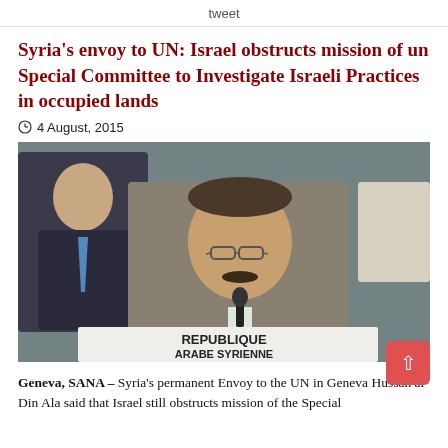tweet
Syria's envoy to UN: Israel obstructs mission of un Special Committee to Investigate Israeli Practices in occupied lands
4 August, 2015
[Figure (photo): Syria's permanent Envoy to the UN in Geneva, Hussam al-Din Ala, seated at a desk with a placard reading REPUBLIQUE ARABE SYRIENNE, speaking at a UN session. A man in a suit with a blue tie is visible behind him.]
Geneva, SANA – Syria's permanent Envoy to the UN in Geneva Hussam al-Din Ala said that Israel still obstructs mission of the Special